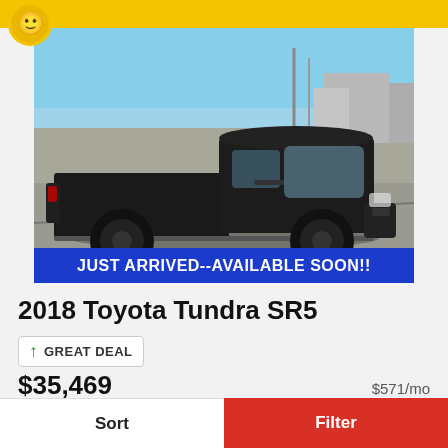[Figure (photo): Black 2018 Toyota Tundra SR5 pickup truck photographed from the side in a parking lot on a sunny day. Banner overlay at bottom reads JUST ARRIVED--AVAILABLE SOON!!]
2018 Toyota Tundra SR5
GREAT DEAL
$35,469   $571/mo
Bird-Kultgen Ford
★★★★★ (reviews)
Sort   Filter